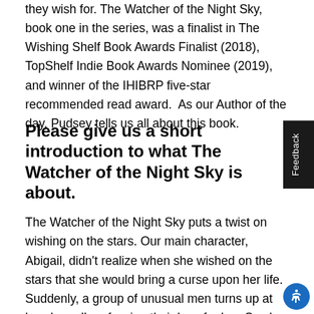they wish for. The Watcher of the Night Sky, book one in the series, was a finalist in The Wishing Shelf Book Awards Finalist (2018), TopShelf Indie Book Awards Nominee (2019), and winner of the IHIBRP five-star recommended read award.  As our Author of the day, Pudsey tells us all about this book.
Please give us a short introduction to what The Watcher of the Night Sky is about.
The Watcher of the Night Sky puts a twist on wishing on the stars. Our main character, Abigail, didn't realize when she wished on the stars that she would bring a curse upon her life. Suddenly, a group of unusual men turns up at her door all professing their love for her. So she spends the book trying to rectify her mistake. But it's only just the beginning